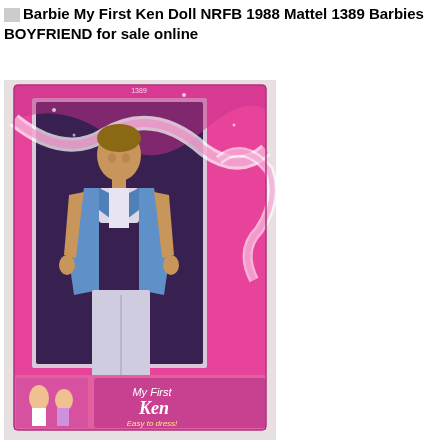Barbie My First Ken Doll NRFB 1988 Mattel 1389 Barbies BOYFRIEND for sale online
[Figure (photo): Photo of a 1988 Mattel 'My First Ken' doll NRFB (Never Removed From Box), item number 1389. The doll is displayed in its original pink box with ribbon decorations. The Ken doll wears a blue tuxedo jacket with white pants and a boutonniere. The box bottom label reads 'My First Ken - Easy to dress!' with a small image of Barbie and Ken.]